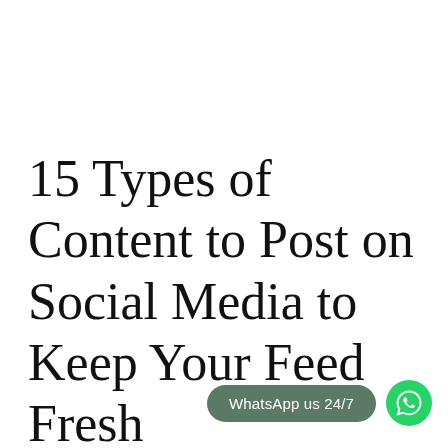15 Types of Content to Post on Social Media to Keep Your Feed Fresh
[Figure (other): WhatsApp us 24/7 button with WhatsApp logo icon]